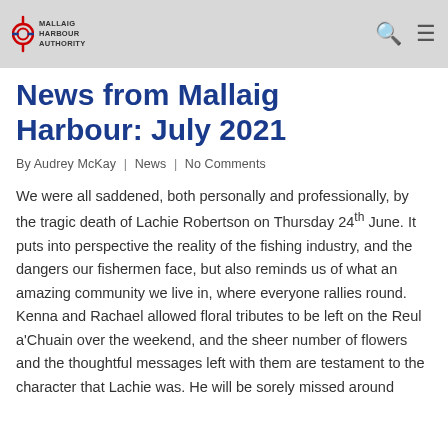Mallaig Harbour Authority
News from Mallaig Harbour: July 2021
By Audrey McKay | News | No Comments
We were all saddened, both personally and professionally, by the tragic death of Lachie Robertson on Thursday 24th June. It puts into perspective the reality of the fishing industry, and the dangers our fishermen face, but also reminds us of what an amazing community we live in, where everyone rallies round. Kenna and Rachael allowed floral tributes to be left on the Reul a'Chuain over the weekend, and the sheer number of flowers and the thoughtful messages left with them are testament to the character that Lachie was. He will be sorely missed around